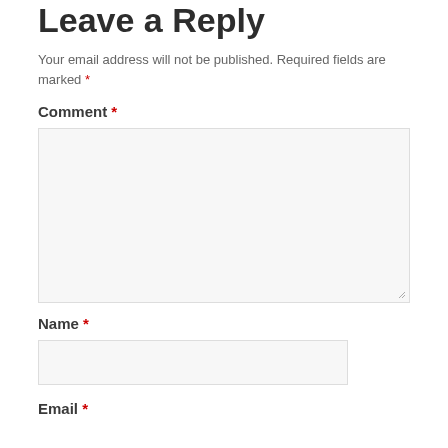Leave a Reply
Your email address will not be published. Required fields are marked *
Comment *
[Figure (other): Large text area input box for comment, with resize handle at bottom-right corner]
Name *
[Figure (other): Text input box for Name field]
Email *